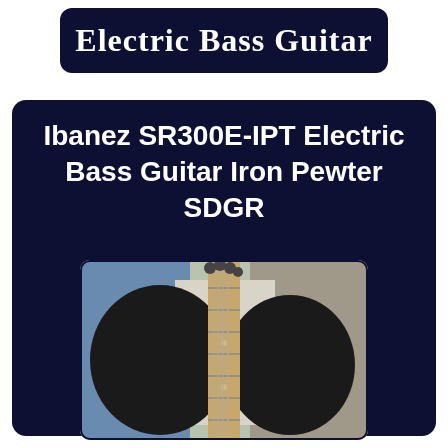Electric Bass Guitar
Ibanez SR300E-IPT Electric Bass Guitar Iron Pewter SDGR
[Figure (photo): Photo of an Ibanez SR300E-IPT Electric Bass Guitar Iron Pewter SDGR, showing the neck and body of a dark-colored bass guitar against a light background, with tuning pegs visible at the top.]